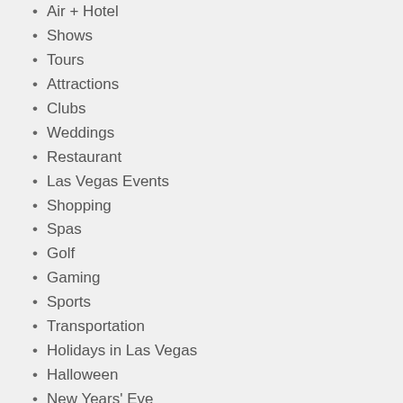Air + Hotel
Shows
Tours
Attractions
Clubs
Weddings
Restaurant
Las Vegas Events
Shopping
Spas
Golf
Gaming
Sports
Transportation
Holidays in Las Vegas
Halloween
New Years' Eve
How to Save at Vegas.com
Vegas.com Coupon Codes
Vegas.com more often than not offers various dollar-off and percentage-off deals through coupons or discount codes. You can